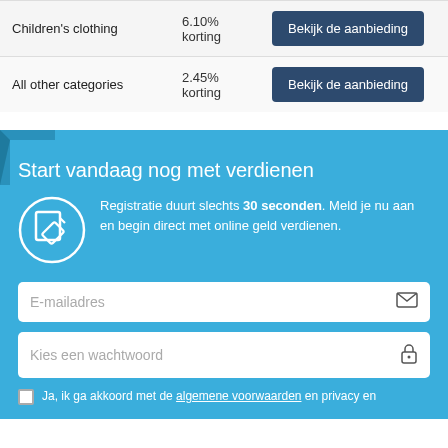| Category | Discount | Action |
| --- | --- | --- |
| Children's clothing | 6.10% korting | Bekijk de aanbieding |
| All other categories | 2.45% korting | Bekijk de aanbieding |
Start vandaag nog met verdienen
Registratie duurt slechts 30 seconden. Meld je nu aan en begin direct met online geld verdienen.
E-mailadres
Kies een wachtwoord
Ja, ik ga akkoord met de algemene voorwaarden en privacy en